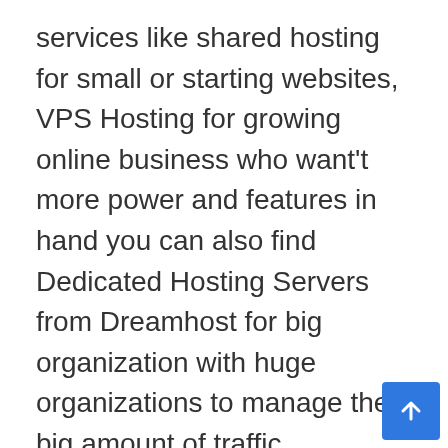services like shared hosting for small or starting websites, VPS Hosting for growing online business who want't more power and features in hand you can also find Dedicated Hosting Servers from Dreamhost for big organization with huge organizations to manage their big amount of traffic.
If you are planning to create website based on WordPress Dreamhost has multiple options for you. WordPress hosting plan